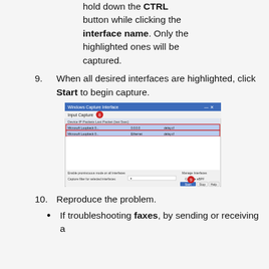To select multiple lines, hold down the CTRL button while clicking the interface name. Only the highlighted ones will be captured.
9. When all desired interfaces are highlighted, click Start to begin capture.
[Figure (screenshot): Windows packet capture dialog showing two highlighted network interfaces selected, with a red circle labeled 8 near the Options menu and a red circle labeled 9 near the Start button.]
10. Reproduce the problem.
If troubleshooting faxes, by sending or receiving a